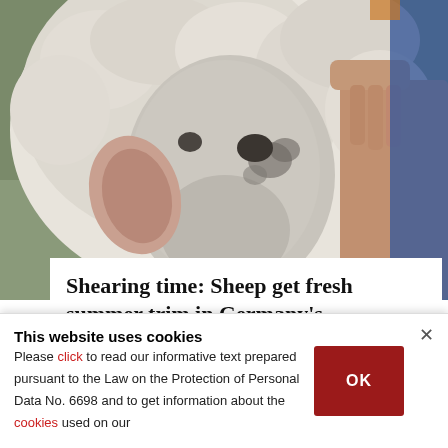[Figure (photo): Close-up photograph of a sheep being held by a person's hands, showing the sheep's face and woolly head during shearing time in Germany's mountains.]
Shearing time: Sheep get fresh summer trim in Germany's mountains
PHOTOGALLERY
This website uses cookies
Please click to read our informative text prepared pursuant to the Law on the Protection of Personal Data No. 6698 and to get information about the cookies used on our